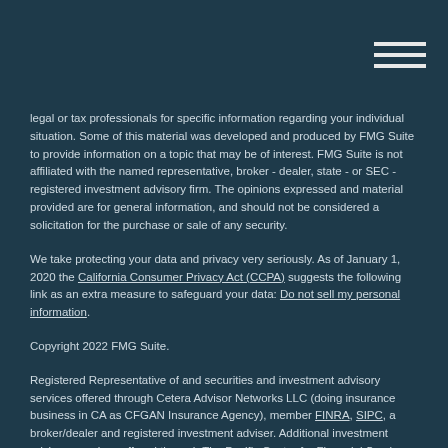legal or tax professionals for specific information regarding your individual situation. Some of this material was developed and produced by FMG Suite to provide information on a topic that may be of interest. FMG Suite is not affiliated with the named representative, broker - dealer, state - or SEC - registered investment advisory firm. The opinions expressed and material provided are for general information, and should not be considered a solicitation for the purchase or sale of any security.
We take protecting your data and privacy very seriously. As of January 1, 2020 the California Consumer Privacy Act (CCPA) suggests the following link as an extra measure to safeguard your data: Do not sell my personal information.
Copyright 2022 FMG Suite.
Registered Representative of and securities and investment advisory services offered through Cetera Advisor Networks LLC (doing insurance business in CA as CFGAN Insurance Agency), member FINRA, SIPC, a broker/dealer and registered investment adviser. Additional investment advisory services offered through The Pacific Center for Financial Services (&#38;#8220;PCFS&#38;#8221;), a registered investment adviser. Cetera is under separate ownership from any other named entity. CA Insurance License# 0688002.
This site is published for residents of the United States only. Registered representatives of Cetera Advisor Networks may only conduct business with residents of the states and/or jurisdictions in which they are properly registered. Not all of the